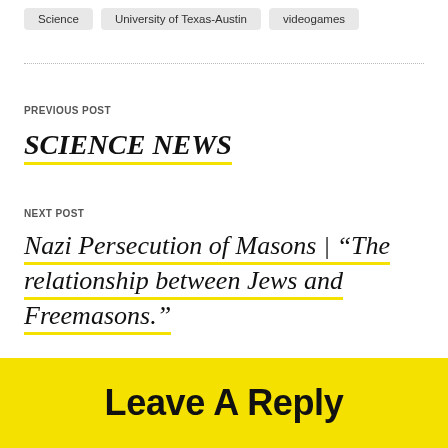Science
University of Texas-Austin
videogames
PREVIOUS POST
SCIENCE NEWS
NEXT POST
Nazi Persecution of Masons | “The relationship between Jews and Freemasons.”
Leave A Reply